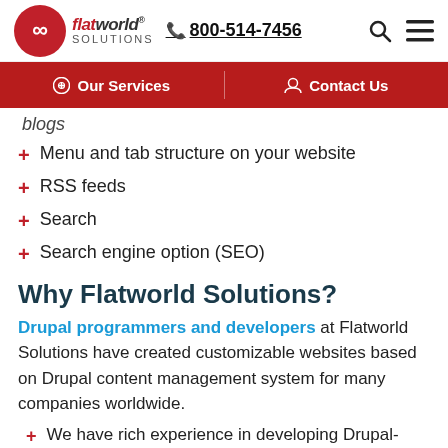[Figure (logo): Flatworld Solutions logo with infinity symbol in red circle and company name]
800-514-7456
Our Services | Contact Us
blogs
Menu and tab structure on your website
RSS feeds
Search
Search engine option (SEO)
Why Flatworld Solutions?
Drupal programmers and developers at Flatworld Solutions have created customizable websites based on Drupal content management system for many companies worldwide.
We have rich experience in developing Drupal-based websites, blogs, forums, communities,